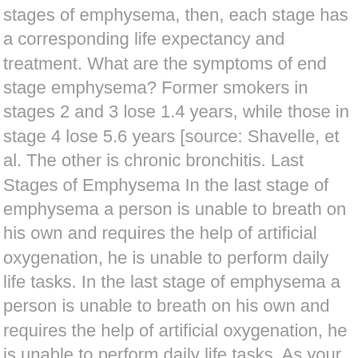stages of emphysema, then, each stage has a corresponding life expectancy and treatment. What are the symptoms of end stage emphysema? Former smokers in stages 2 and 3 lose 1.4 years, while those in stage 4 lose 5.6 years [source: Shavelle, et al. The other is chronic bronchitis. Last Stages of Emphysema In the last stage of emphysema a person is unable to breath on his own and requires the help of artificial oxygenation, he is unable to perform daily life tasks. In the last stage of emphysema a person is unable to breath on his own and requires the help of artificial oxygenation, he is unable to perform daily life tasks. As your loved one nears death, you may notice changes in their physical and mental health. Emphysema is one of the main diseases included in the diagnosis "chronic obstructive pulmonary disease," or COPD. Are there any chances of recovery in final stage of emphysema? And, stopping smoking can not only greatly reduce the risk of developing cancer but also reduce the risk of it leading to a more rapid death. Q: What is the end stage of